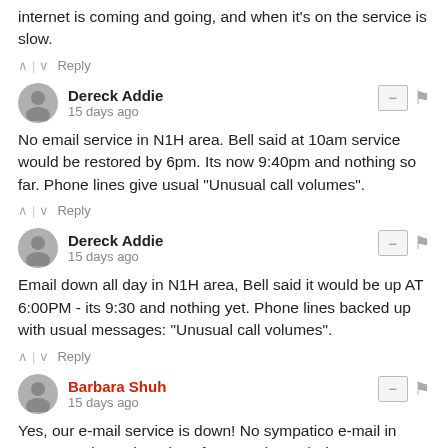internet is coming and going, and when it's on the service is slow.
^ | v  Reply
Dereck Addie
15 days ago
No email service in N1H area. Bell said at 10am service would be restored by 6pm. Its now 9:40pm and nothing so far. Phone lines give usual "Unusual call volumes".
^ | v  Reply
Dereck Addie
15 days ago
Email down all day in N1H area, Bell said it would be up AT 6:00PM - its 9:30 and nothing yet. Phone lines backed up with usual messages: "Unusual call volumes".
^ | v  Reply
Barbara Shuh
15 days ago
Yes, our e-mail service is down! No sympatico e-mail in K2K 1K4 since Thursday afternoon (Aug 4) via 3 access points (desktop, laptop and cell phone). No e-mail on 4th machine